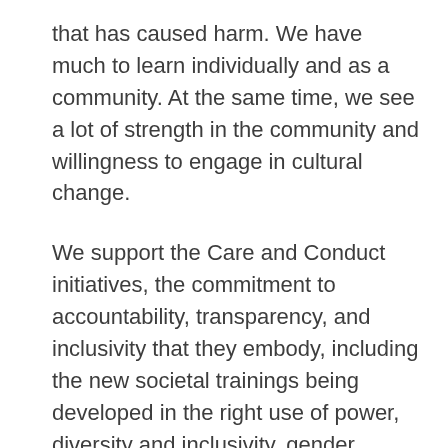that has caused harm. We have much to learn individually and as a community. At the same time, we see a lot of strength in the community and willingness to engage in cultural change.
We support the Care and Conduct initiatives, the commitment to accountability, transparency, and inclusivity that they embody, including the new societal trainings being developed in the right use of power, diversity and inclusivity, gender dynamics, and the reduction of harm having to do with sexual predation, racism, and more.